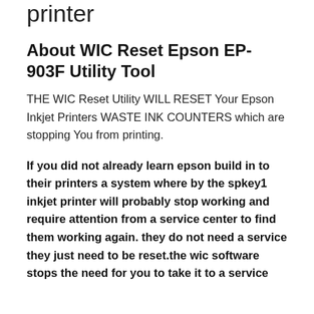printer
About WIC Reset Epson EP-903F Utility Tool
THE WIC Reset Utility WILL RESET Your Epson Inkjet Printers WASTE INK COUNTERS which are stopping You from printing.
If you did not already learn epson build in to their printers a system where by the spkey1 inkjet printer will probably stop working and require attention from a service center to find them working again. they do not need a service they just need to be reset.the wic software stops the need for you to take it to a service